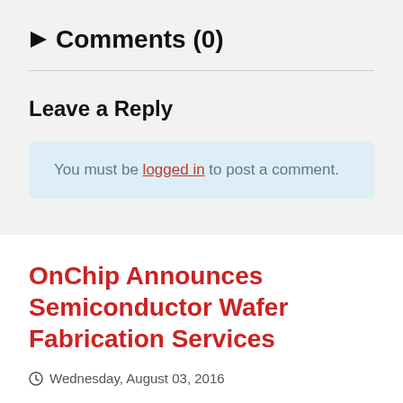Comments (0)
Leave a Reply
You must be logged in to post a comment.
OnChip Announces Semiconductor Wafer Fabrication Services
Wednesday, August 03, 2016